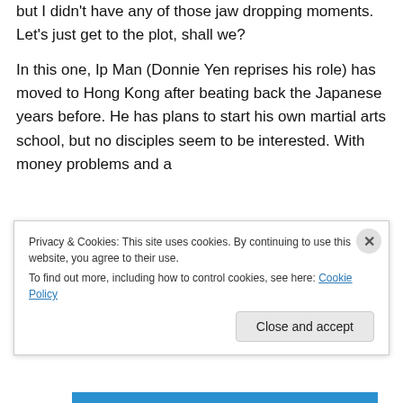but I didn't have any of those jaw dropping moments. Let's just get to the plot, shall we?
In this one, Ip Man (Donnie Yen reprises his role) has moved to Hong Kong after beating back the Japanese years before. He has plans to start his own martial arts school, but no disciples seem to be interested. With money problems and a
[Figure (photo): A scene from what appears to be a Chinese martial arts setting, showing Chinese calligraphy signs/banners on the wall, and a hand visible in the foreground with a figure on the right side.]
Privacy & Cookies: This site uses cookies. By continuing to use this website, you agree to their use. To find out more, including how to control cookies, see here: Cookie Policy